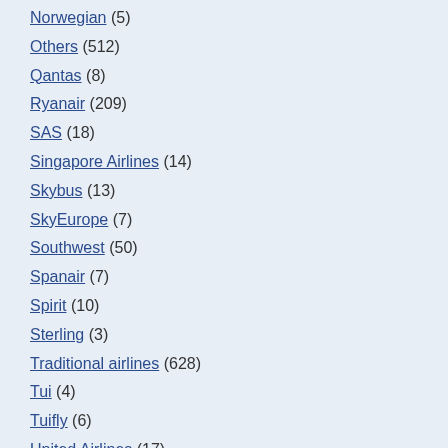Norwegian (5)
Others (512)
Qantas (8)
Ryanair (209)
SAS (18)
Singapore Airlines (14)
Skybus (13)
SkyEurope (7)
Southwest (50)
Spanair (7)
Spirit (10)
Sterling (3)
Traditional airlines (628)
Tui (4)
Tuifly (6)
United Airlines (17)
US airways (18)
Virgin America (12)